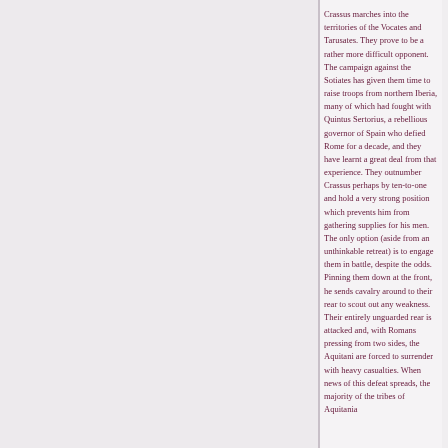Crassus marches into the territories of the Vocates and Tarusates. They prove to be a rather more difficult opponent. The campaign against the Sotiates has given them time to raise troops from northern Iberia, many of which had fought with Quintus Sertorius, a rebellious governor of Spain who defied Rome for a decade, and they have learnt a great deal from that experience. They outnumber Crassus perhaps by ten-to-one and hold a very strong position which prevents him from gathering supplies for his men. The only option (aside from an unthinkable retreat) is to engage them in battle, despite the odds. Pinning them down at the front, he sends cavalry around to their rear to scout out any weakness. Their entirely unguarded rear is attacked and, with Romans pressing from two sides, the Aquitani are forced to surrender with heavy casualties. When news of this defeat spreads, the majority of the tribes of Aquitania